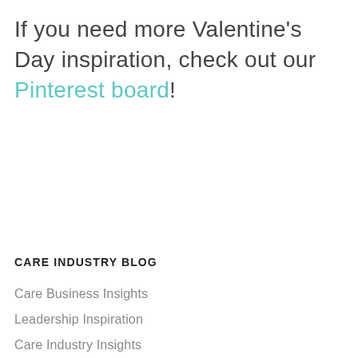If you need more Valentine's Day inspiration, check out our Pinterest board!
CARE INDUSTRY BLOG
Care Business Insights
Leadership Inspiration
Care Industry Insights
Caregiver Inspiration